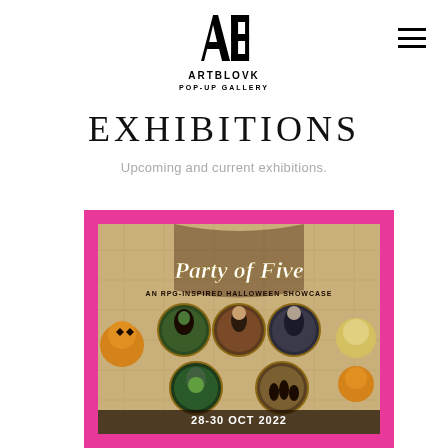ARTBLOVK POP-UP GALLERY
EXHIBITIONS
Upcoming and current exhibitions.
[Figure (illustration): Exhibition poster for 'Party of Five: An RPG-Inspired Halloween Showcase', 28-30 Oct 2022. Pink border, fantasy map background, circular portrait medallions of five figures, pumpkin-headed creatures, glowing orbs, bold title text in script and caps.]